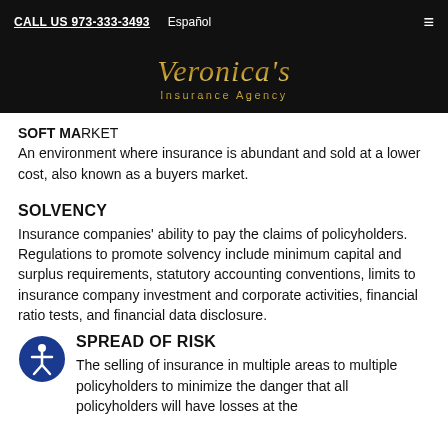CALL US 973-333-3493   Español
[Figure (logo): Veronica's Insurance Agency logo in gold script on black background]
SOFT MARKET
An environment where insurance is abundant and sold at a lower cost, also known as a buyers market.
SOLVENCY
Insurance companies' ability to pay the claims of policyholders. Regulations to promote solvency include minimum capital and surplus requirements, statutory accounting conventions, limits to insurance company investment and corporate activities, financial ratio tests, and financial data disclosure.
SPREAD OF RISK
The selling of insurance in multiple areas to multiple policyholders to minimize the danger that all policyholders will have losses at the